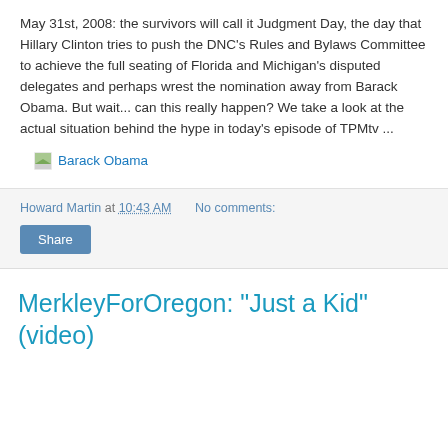May 31st, 2008: the survivors will call it Judgment Day, the day that Hillary Clinton tries to push the DNC's Rules and Bylaws Committee to achieve the full seating of Florida and Michigan's disputed delegates and perhaps wrest the nomination away from Barack Obama. But wait... can this really happen? We take a look at the actual situation behind the hype in today's episode of TPMtv ...
Barack Obama
Howard Martin at 10:43 AM   No comments:
Share
MerkleyForOregon: "Just a Kid" (video)